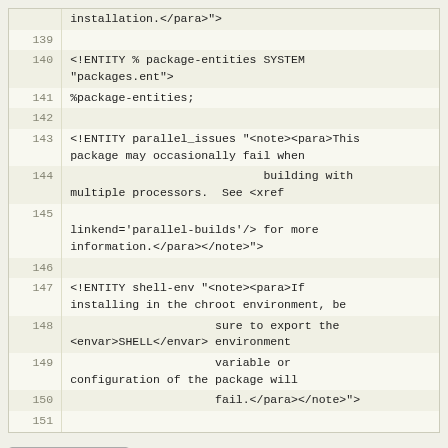Code viewer showing lines 139-151 of an XML/DTD entity file with line numbers and syntax
installation.</para>">
139
140  <!ENTITY % package-entities SYSTEM "packages.ent">
141  %package-entities;
142
143  <!ENTITY parallel_issues "<note><para>This package may occasionally fail when
144                              building with multiple processors.  See <xref
145  linkend='parallel-builds'/> for more information.</para></note>">
146
147  <!ENTITY shell-env "<note><para>If installing in the chroot environment, be
148                       sure to export the <envar>SHELL</envar> environment
149                       variable or configuration of the package will
150                       fail.</para></note>">
151
View changes...